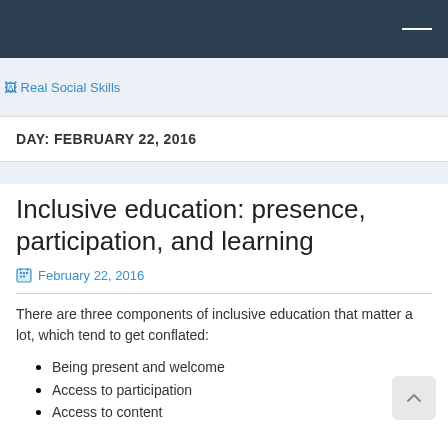Real Social Skills
DAY: FEBRUARY 22, 2016
Inclusive education: presence, participation, and learning
February 22, 2016
There are three components of inclusive education that matter a lot, which tend to get conflated:
Being present and welcome
Access to participation
Access to content